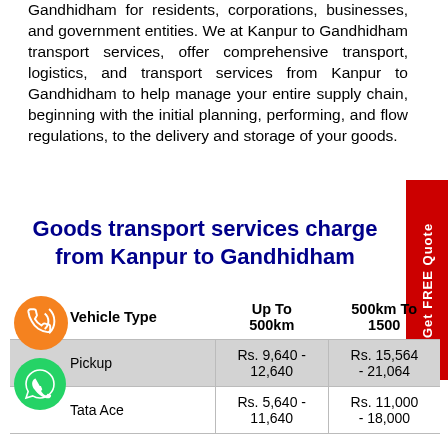Gandhidham for residents, corporations, businesses, and government entities. We at Kanpur to Gandhidham transport services, offer comprehensive transport, logistics, and transport services from Kanpur to Gandhidham to help manage your entire supply chain, beginning with the initial planning, performing, and flow regulations, to the delivery and storage of your goods.
Goods transport services charges from Kanpur to Gandhidham
| Vehicle Type | Up To 500km | 500km To 1500 |
| --- | --- | --- |
| Pickup | Rs. 9,640 - 12,640 | Rs. 15,564 - 21,064 |
| Tata Ace | Rs. 5,640 - 11,640 | Rs. 11,000 - 18,000 |